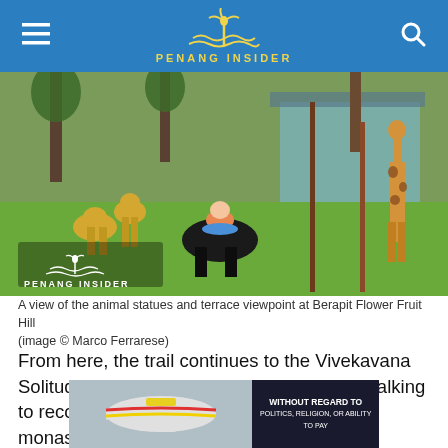PENANG INSIDER
[Figure (photo): Outdoor scene at Berapit Flower Fruit Hill showing animal statues including deer and giraffe on a grassy area, with a person sitting on a large black buffalo statue. Trees and a blue-roofed building visible in background. Penang Insider watermark logo in bottom-left corner.]
A view of the animal statues and terrace viewpoint at Berapit Flower Fruit Hill (image © Marco Ferrarese)
From here, the trail continues to the Vivekavana Solitude Grove, from where you can keep walking to reconnect to the Burmese-Thai Buddhist monastery (known in Chinese as
[Figure (photo): Advertisement banner showing an airplane on the left side and dark panel with text 'WITHOUT REGARD TO POLITICS, RELIGION, OR ABILITY TO PAY' on the right side.]